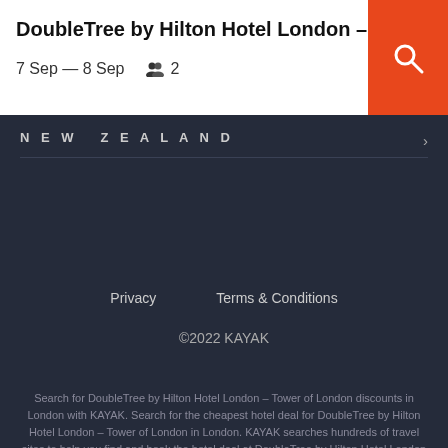DoubleTree by Hilton Hotel London – Tower …
7 Sep — 8 Sep    👥 2
NEW ZEALAND
Privacy    Terms & Conditions
©2022 KAYAK
Search for DoubleTree by Hilton Hotel London – Tower of London discounts in London with KAYAK. Search for the cheapest hotel deal for DoubleTree by Hilton Hotel London – Tower of London in London. KAYAK searches hundreds of travel sites to help you find and book the hotel deal at DoubleTree by Hilton Hotel London – Tower of London that suits you best. $298 per night (Latest starting price for this hotel).